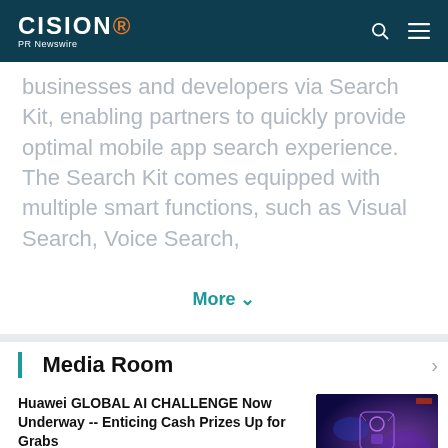CISION PR Newswire
businesses and developers via Search Kit, enabling partners to quickly provide optimal mobile app search experience. The Search Kit comes equipped with multiple smart functions, such as Visual Search, Voice Search,
More ›
Media Room
Huawei GLOBAL AI CHALLENGE Now Underway -- Enticing Cash Prizes Up for Grabs
2022-07-06 09:39   1782